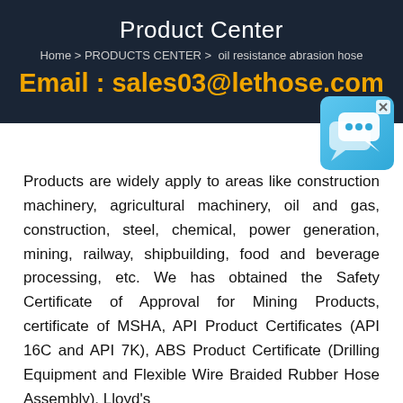Product Center
Home > PRODUCTS CENTER >  oil resistance abrasion hose
Email : sales03@lethose.com
[Figure (illustration): Blue chat/messaging icon with speech bubble graphics on a light blue gradient background, with a small 'x' close button in the top right corner]
Products are widely apply to areas like construction machinery, agricultural machinery, oil and gas, construction, steel, chemical, power generation, mining, railway, shipbuilding, food and beverage processing, etc. We has obtained the Safety Certificate of Approval for Mining Products, certificate of MSHA, API Product Certificates (API 16C and API 7K), ABS Product Certificate (Drilling Equipment and Flexible Wire Braided Rubber Hose Assembly), Lloyd's